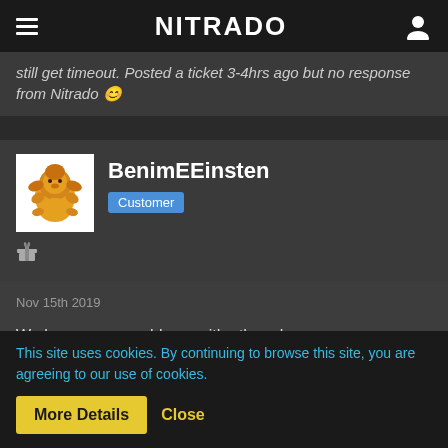NITRADO
still get timeout. Posted a ticket 3-4hrs ago but no response from Nitrado 😊
BenimEEinsten
Customer
Nov 15th 2019
We have same problems with other players on our servers.. We have tried everything from rolback ect. Nothing seems to work..
This site uses cookies. By continuing to browse this site, you are agreeing to our use of cookies.